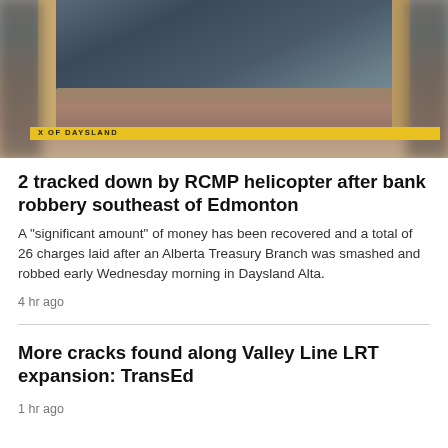[Figure (photo): Photo of a destroyed bank building with rubble, broken glass and debris visible, a yellow barrier in the foreground with partial text 'X OF DAYSLAND' visible, blurred edges on left and right sides.]
2 tracked down by RCMP helicopter after bank robbery southeast of Edmonton
A "significant amount" of money has been recovered and a total of 26 charges laid after an Alberta Treasury Branch was smashed and robbed early Wednesday morning in Daysland Alta.
4 hr ago
More cracks found along Valley Line LRT expansion: TransEd
1 hr ago